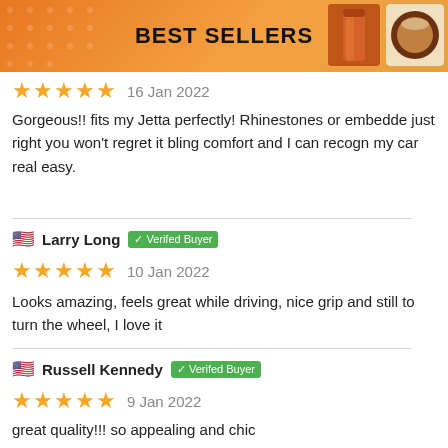BEST SELLERS
★★★★★  16 Jan 2022
Gorgeous!! fits my Jetta perfectly! Rhinestones or embedded just right you won't regret it bling comfort and I can recognize my car real easy.
Larry Long  ✓ Verifed Buyer
★★★★★  10 Jan 2022
Looks amazing, feels great while driving, nice grip and still to turn the wheel, I love it
Russell Kennedy  ✓ Verifed Buyer
★★★★★  9 Jan 2022
great quality!!! so appealing and chic